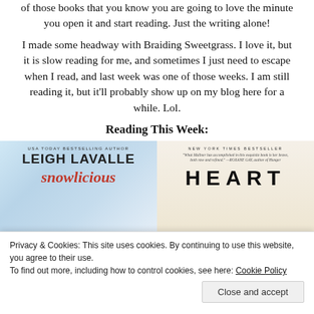of those books that you know you are going to love the minute you open it and start reading. Just the writing alone!
I made some headway with Braiding Sweetgrass. I love it, but it is slow reading for me, and sometimes I just need to escape when I read, and last week was one of those weeks. I am still reading it, but it'll probably show up on my blog here for a while. Lol.
Reading This Week:
[Figure (photo): Two book covers side by side. Left: USA Today Bestselling Author Leigh Lavalle, Snowlicious (title in red script). Right: New York Times Bestseller, Heart (large letters), with a quote from Roxane Gay.]
[Figure (photo): Bottom portions of two book covers. Left: dark red/maroon background with food imagery. Right: light background with botanical/berry illustration.]
Privacy & Cookies: This site uses cookies. By continuing to use this website, you agree to their use.
To find out more, including how to control cookies, see here: Cookie Policy
Close and accept